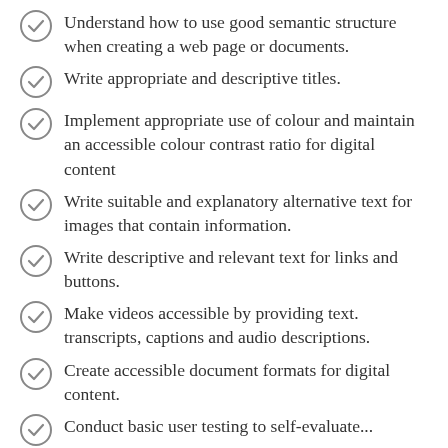Understand how to use good semantic structure when creating a web page or documents.
Write appropriate and descriptive titles.
Implement appropriate use of colour and maintain an accessible colour contrast ratio for digital content
Write suitable and explanatory alternative text for images that contain information.
Write descriptive and relevant text for links and buttons.
Make videos accessible by providing text. transcripts, captions and audio descriptions.
Create accessible document formats for digital content.
Conduct basic user testing to self-evaluate...